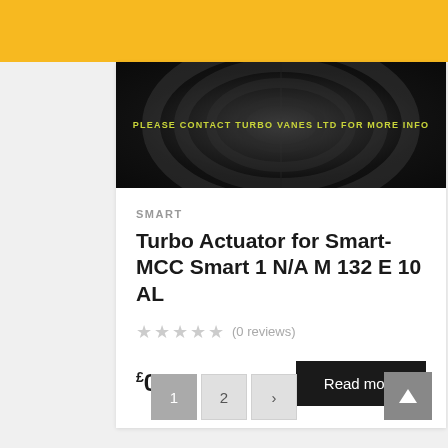[Figure (photo): Dark circular turbo vane pattern on black background with yellow-green text reading PLEASE CONTACT TURBO VANES LTD FOR MORE INFO]
SMART
Turbo Actuator for Smart-MCC Smart 1 N/A M 132 E 10 AL
★★★★★ (0 reviews)
£0.00
Read more
1  2  >